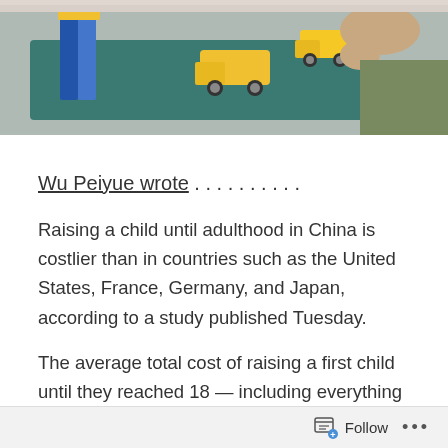[Figure (photo): Child playing with yellow toy construction vehicles and colorful building blocks on a teal/blue mat, with an adult partially visible in the background.]
Wu Peiyue wrote . . . . . . . . . .
Raising a child until adulthood in China is costlier than in countries such as the United States, France, Germany, and Japan, according to a study published Tuesday.
The average total cost of raising a first child until they reached 18 — including everything from pregnancy-related costs to tuition — stood at 485,000 yuan ($76,760) in 2019, nearly seven times the country's per capita GDP, the study by Beijing-based YuWa Population Research Institute said. China was only behind South Korea —
Follow ...